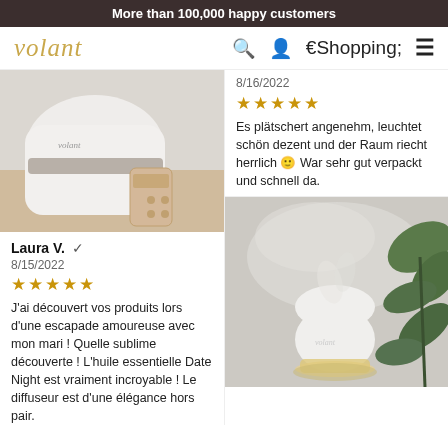More than 100,000 happy customers
[Figure (logo): Volant brand logo in gold italic serif font]
[Figure (photo): Close-up photo of a white Volant diffuser device with a remote control on a wooden surface]
Laura V. ✔
8/15/2022
★★★★★
J'ai découvert vos produits lors d'une escapade amoureuse avec mon mari ! Quelle sublime découverte ! L'huile essentielle Date Night est vraiment incroyable ! Le diffuseur est d'une élégance hors pair.
8/16/2022
★★★★★
Es plätschert angenehm, leuchtet schön dezent und der Raum riecht herrlich 🙂 War sehr gut verpackt und schnell da.
[Figure (photo): Photo of a glowing white dome-shaped Volant diffuser with mist, surrounded by green plant leaves]